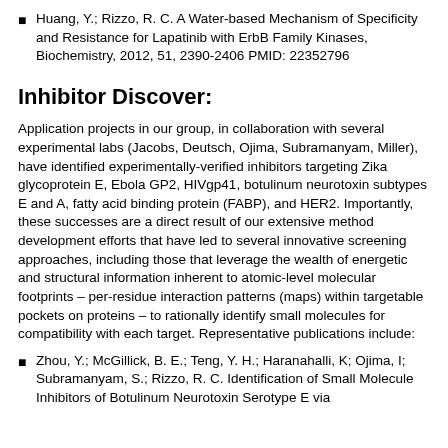Huang, Y.; Rizzo, R. C. A Water-based Mechanism of Specificity and Resistance for Lapatinib with ErbB Family Kinases, Biochemistry, 2012, 51, 2390-2406 PMID: 22352796
Inhibitor Discover:
Application projects in our group, in collaboration with several experimental labs (Jacobs, Deutsch, Ojima, Subramanyam, Miller), have identified experimentally-verified inhibitors targeting Zika glycoprotein E, Ebola GP2, HIVgp41, botulinum neurotoxin subtypes E and A, fatty acid binding protein (FABP), and HER2. Importantly, these successes are a direct result of our extensive method development efforts that have led to several innovative screening approaches, including those that leverage the wealth of energetic and structural information inherent to atomic-level molecular footprints – per-residue interaction patterns (maps) within targetable pockets on proteins – to rationally identify small molecules for compatibility with each target. Representative publications include:
Zhou, Y.; McGillick, B. E.; Teng, Y. H.; Haranahalli, K; Ojima, I; Subramanyam, S.; Rizzo, R. C. Identification of Small Molecule Inhibitors of Botulinum Neurotoxin Serotype E via